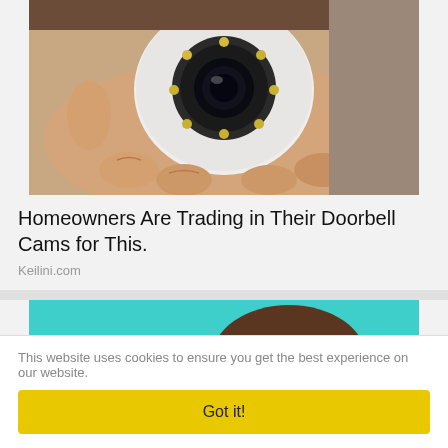[Figure (photo): A hand holding a small white spherical security camera with multiple LED lights around the lens]
Homeowners Are Trading in Their Doorbell Cams for This.
Keilini.com
[Figure (photo): A young woman with brown hair holding a dark credit card up to cover one eye, against a teal background]
This website uses cookies to ensure you get the best experience on our website.
Got it!